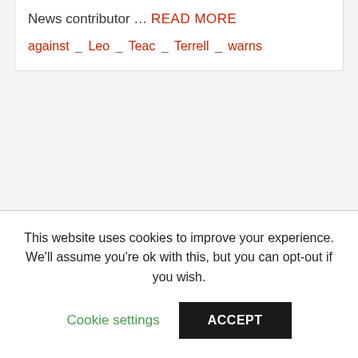News contributor … READ MORE
against _ Leo _ Teac _ Terrell _ warns
This website uses cookies to improve your experience. We'll assume you're ok with this, but you can opt-out if you wish.
Cookie settings | ACCEPT